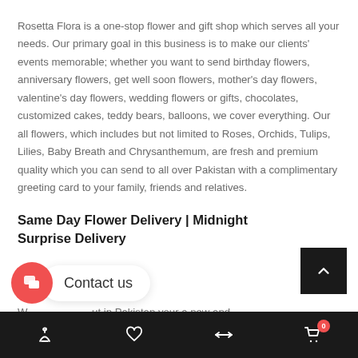Rosetta Flora is a one-stop flower and gift shop which serves all your needs. Our primary goal in this business is to make our clients' events memorable; whether you want to send birthday flowers, anniversary flowers, get well soon flowers, mother's day flowers, valentine's day flowers, wedding flowers or gifts, chocolates, customized cakes, teddy bears, balloons, we cover everything. Our all flowers, which includes but not limited to Roses, Orchids, Tulips, Lilies, Baby Breath and Chrysanthemum, are fresh and premium quality which you can send to all over Pakistan with a complimentary greeting card to your family, friends and relatives.
Same Day Flower Delivery | Midnight Surprise Delivery
W...ut in Pakistan your a new and